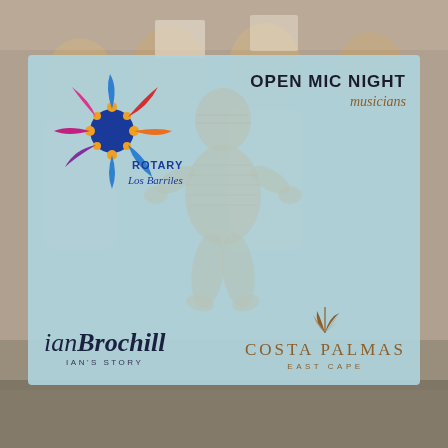[Figure (photo): Background photo of smiling young women/students in a group setting, blurred]
[Figure (logo): Rotary Los Barriles logo - colorful splashing paint design with blue, purple, orange, red, yellow dots forming circular pattern. Text: ROTARY Los Barriles]
OPEN MIC NIGHT musicians
[Figure (illustration): Watermark-style word-art figure of a person made from text/words, beige/tan color, semi-transparent]
[Figure (logo): Ian Brochill logo - cursive/italic text reading 'ianBrochill' with IAN'S STORY below in caps]
[Figure (logo): Costa Palmas East Cape logo - decorative palm feather icon above text COSTA PALMAS / EAST CAPE in gold/bronze]